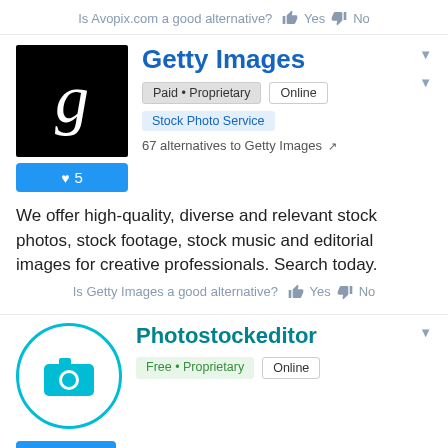Is Avopix.com a good alternative? 👍 Yes 👎 No
Getty Images
Paid • Proprietary  Online  Stock Photo Service
♥ 5
67 alternatives to Getty Images
We offer high-quality, diverse and relevant stock photos, stock footage, stock music and editorial images for creative professionals. Search today.
Is Getty Images a good alternative? 👍 Yes 👎 No
Photostockeditor
Free • Proprietary  Online